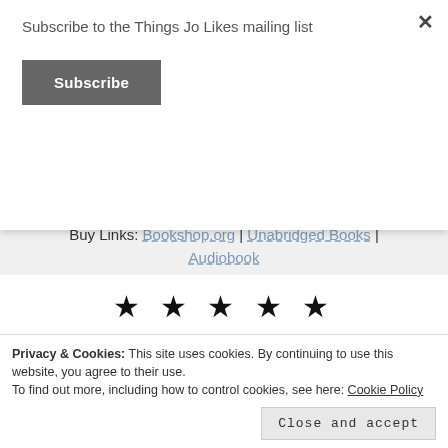Subscribe to the Things Jo Likes mailing list
Subscribe
Genre: Adult Horror
Year Release: May 2021
Buy Links: Bookshop.org | Unabridged Books | Audiobook
[Figure (other): Five black star rating icons displayed in a row]
[Figure (photo): Dark blue book cover with light tendrils/branches design]
Read a NetGalley eARC
Content warning
blood, gaslighting.
Privacy & Cookies: This site uses cookies. By continuing to use this website, you agree to their use.
To find out more, including how to control cookies, see here: Cookie Policy
Close and accept